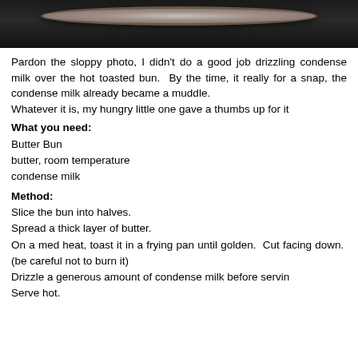[Figure (photo): Dark background photo showing a plate, cropped at top of page]
Pardon the sloppy photo, I didn't do a good job drizzling condense milk over the hot toasted bun.  By the time, it really for a snap, the condense milk already became a muddle.
Whatever it is, my hungry little one gave a thumbs up for it
What you need:
Butter Bun
butter, room temperature
condense milk
Method:
Slice the bun into halves.
Spread a thick layer of butter.
On a med heat, toast it in a frying pan until golden.  Cut facing down.  (be careful not to burn it)
Drizzle a generous amount of condense milk before servin
Serve hot.